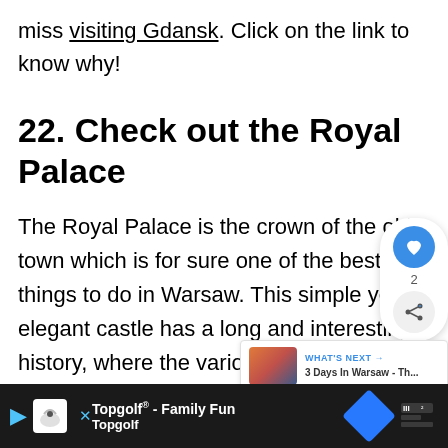miss visiting Gdansk. Click on the link to know why!
22. Check out the Royal Palace
The Royal Palace is the crown of the old town which is for sure one of the best things to do in Warsaw. This simple yet elegant castle has a long and interesting history, where the various monarchs exerted their influence on the people in all ways. The Polish king Zygmunt... le after